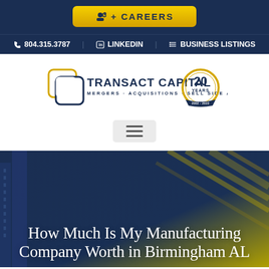CAREERS
804.315.3787  LINKEDIN  BUSINESS LISTINGS
[Figure (logo): Transact Capital logo — two overlapping square outlines in navy/gold with text TRANSACT CAPITAL MERGERS · ACQUISITIONS · SELL SIDE ADVISORS and a 20 YEARS anniversary badge]
[Figure (other): Hamburger menu icon (three horizontal lines)]
How Much Is My Manufacturing Company Worth in Birmingham AL